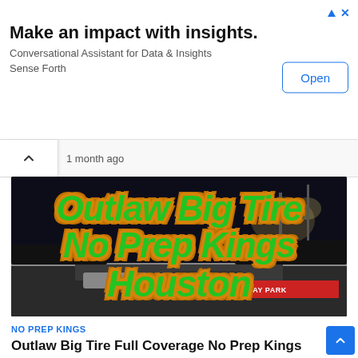[Figure (screenshot): Advertisement banner: 'Make an impact with insights. Conversational Assistant for Data & Insights Sense Forth' with an Open button]
1 month ago
[Figure (photo): Nighttime drag strip photo with large stylized green italic text overlay reading 'Outlaw Big Tire No Prep Kings Houston' with orange glow effect. Houston Raceway Park banner visible in background.]
NO PREP KINGS
Outlaw Big Tire Full Coverage No Prep Kings Houston 2022 Street Outlaws NPK Boddie Jr Scott Taylor